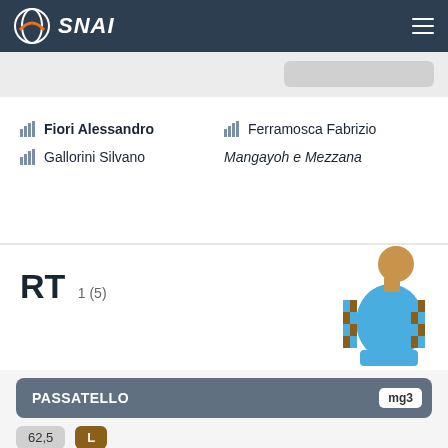SNAI
Fiori Alessandro | Ferramosca Fabrizio
Gallorini Silvano | Mangayoh e Mezzana
RT 1 (5)
[Figure (illustration): Jockey figure wearing blue and brown checkered jersey]
PASSATELLO mg3
62,5 L